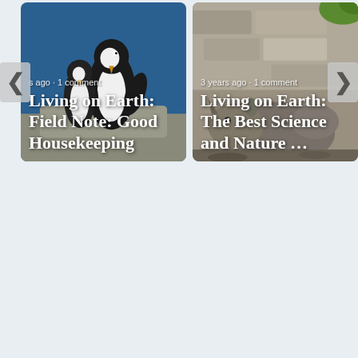[Figure (screenshot): A carousel of two article cards. Left card shows two penguins on a rocky surface with blue water background, with text overlay '...s ago · 1 comment' and title 'Living on Earth: Field Note: Good Housekeeping'. Right card shows a rhino near rocky terrain, with text overlay '3 years ago · 1 comment' and title 'Living on Earth: The Best Science and Nature …'. Navigation arrows (‹ and ›) flank the carousel.]